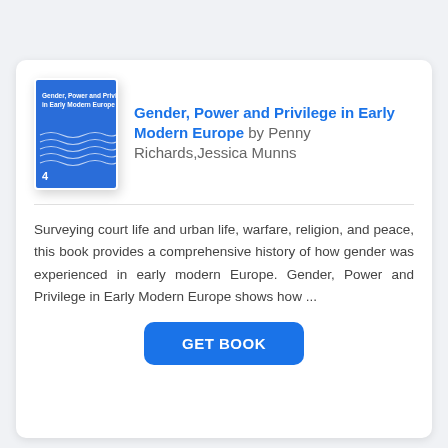[Figure (illustration): Book cover of 'Gender, Power and Privilege in Early Modern Europe' — blue cover with white title text and horizontal wave lines, number 4 at lower left]
Gender, Power and Privilege in Early Modern Europe by Penny Richards, Jessica Munns
Surveying court life and urban life, warfare, religion, and peace, this book provides a comprehensive history of how gender was experienced in early modern Europe. Gender, Power and Privilege in Early Modern Europe shows how ...